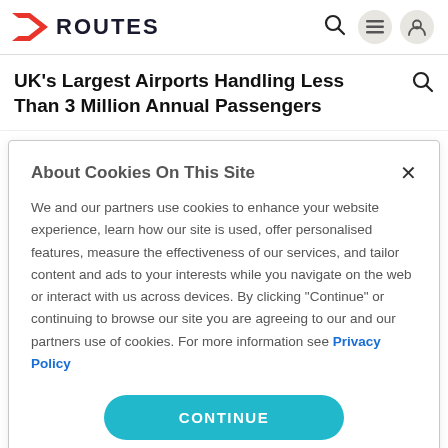ROUTES
UK's Largest Airports Handling Less Than 3 Million Annual Passengers
About Cookies On This Site
We and our partners use cookies to enhance your website experience, learn how our site is used, offer personalised features, measure the effectiveness of our services, and tailor content and ads to your interests while you navigate on the web or interact with us across devices. By clicking "Continue" or continuing to browse our site you are agreeing to our and our partners use of cookies. For more information see Privacy Policy
CONTINUE